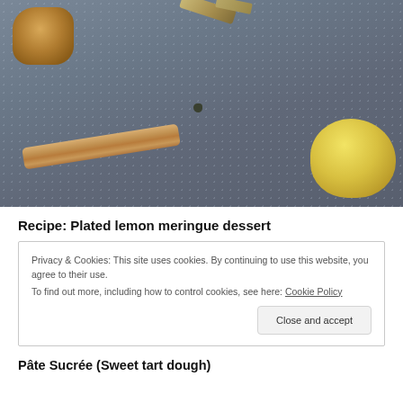[Figure (photo): Close-up photo of baking/dessert ingredients on a dark slate surface: a honeycomb piece top-left, cinnamon stick in center, yellow lemon on the right, herb/spice pieces at top, with water droplets on the surface.]
Recipe: Plated lemon meringue dessert
Privacy & Cookies: This site uses cookies. By continuing to use this website, you agree to their use.
To find out more, including how to control cookies, see here: Cookie Policy
[Close and accept]
Pâte Sucrée (Sweet tart dough)